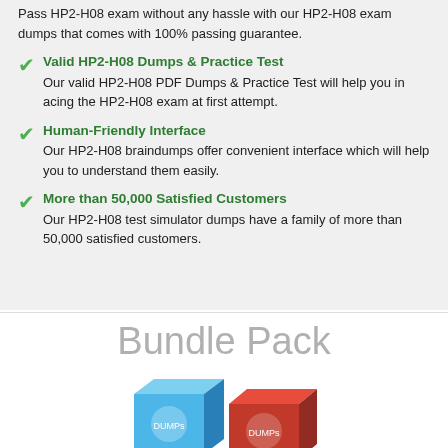Pass HP2-H08 exam without any hassle with our HP2-H08 exam dumps that comes with 100% passing guarantee.
Valid HP2-H08 Dumps & Practice Test
Our valid HP2-H08 PDF Dumps & Practice Test will help you in acing the HP2-H08 exam at first attempt.
Human-Friendly Interface
Our HP2-H08 braindumps offer convenient interface which will help you to understand them easily.
More than 50,000 Satisfied Customers
Our HP2-H08 test simulator dumps have a family of more than 50,000 satisfied customers.
Bundle Pack
[Figure (illustration): Two software product boxes — one blue and one red/brown — representing HP2-H08 exam dumps bundle pack products.]